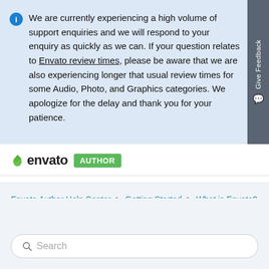We are currently experiencing a high volume of support enquiries and we will respond to your enquiry as quickly as we can. If your question relates to Envato review times, please be aware that we are also experiencing longer that usual review times for some Audio, Photo, and Graphics categories. We apologize for the delay and thank you for your patience.
[Figure (logo): Envato logo with green leaf icon and AUTHOR badge]
Envato Author Help Center > Getting Started > What is Envato?
Search